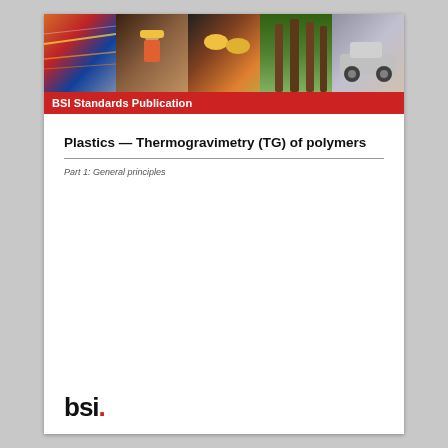[Figure (photo): BSI Standards Publication banner with five photo panels: motion-blurred train lights, industrial worker in hard hat, firefighters with helmets, tall trees in forest, pickup truck on road]
BSI Standards Publication
Plastics — Thermogravimetry (TG) of polymers
Part 1: General principles
[Figure (logo): BSI logo: lowercase 'bsi' in bold black with a red period/dot]